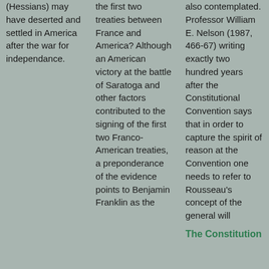(Hessians) may have deserted and settled in America after the war for independance.
the first two treaties between France and America? Although an American victory at the battle of Saratoga and other factors contributed to the signing of the first two Franco-American treaties, a preponderance of the evidence points to Benjamin Franklin as the
also contemplated. Professor William E. Nelson (1987, 466-67) writing exactly two hundred years after the Constitutional Convention says that in order to capture the spirit of reason at the Convention one needs to refer to Rousseau's concept of the general will
The Constitution